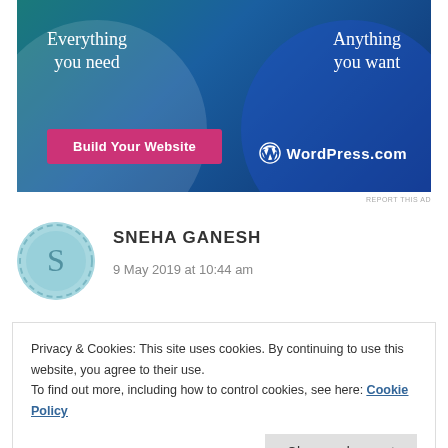[Figure (screenshot): WordPress.com advertisement banner with teal and blue gradient background, two overlapping circles, text 'Everything you need' and 'Anything you want', pink 'Build Your Website' button, and WordPress.com logo]
REPORT THIS AD
SNEHA GANESH
9 May 2019 at 10:44 am
Privacy & Cookies: This site uses cookies. By continuing to use this website, you agree to their use.
To find out more, including how to control cookies, see here: Cookie Policy
Close and accept